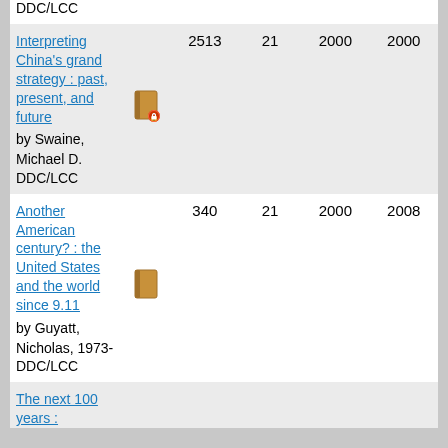| Title/Author | Icon | Count1 | Count2 | Year1 | Year2 |
| --- | --- | --- | --- | --- | --- |
| DDC/LCC |  |  |  |  |  |
| Interpreting China's grand strategy : past, present, and future
by Swaine, Michael D.
DDC/LCC | [book icon] | 2513 | 21 | 2000 | 2000 |
| Another American century? : the United States and the world since 9.11
by Guyatt, Nicholas, 1973-
DDC/LCC | [book icon] | 340 | 21 | 2000 | 2008 |
| The next 100 years : |  |  |  |  |  |